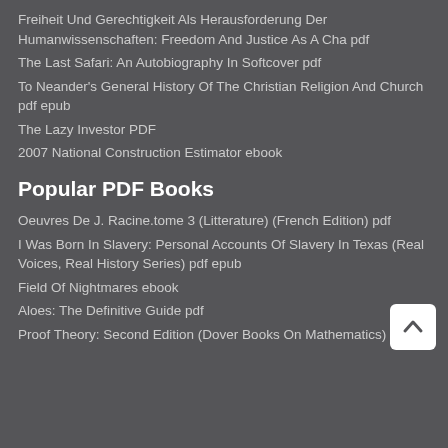Freiheit Und Gerechtigkeit Als Herausforderung Der Humanwissenschaften: Freedom And Justice As A Cha pdf
The Last Safari: An Autobiography In Softcover pdf
To Neander's General History Of The Christian Religion And Church pdf epub
The Lazy Investor PDF
2007 National Construction Estimator ebook
Popular PDF Books
Oeuvres De J. Racine.tome 3 (Litterature) (French Edition) pdf
I Was Born In Slavery: Personal Accounts Of Slavery In Texas (Real Voices, Real History Series) pdf epub
Field Of Nightmares ebook
Aloes: The Definitive Guide pdf
Proof Theory: Second Edition (Dover Books On Mathematics) PDF